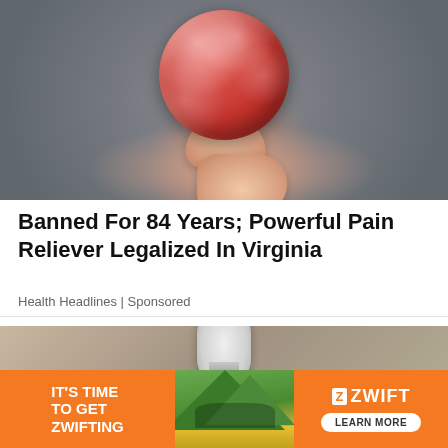[Figure (photo): Close-up photo of a hand holding a red sugar-coated gummy candy between two fingers, against a dark grey background]
Banned For 84 Years; Powerful Pain Reliever Legalized In Virginia
Health Headlines | Sponsored
[Figure (photo): Photo of a hand holding a white LED light bulb]
[Figure (infographic): Zwift advertisement banner. Left orange section reads IT'S TIME TO GET ZWIFTING. Middle section shows cyclists on a green mountain road. Right orange section shows Zwift logo and LEARN MORE button.]